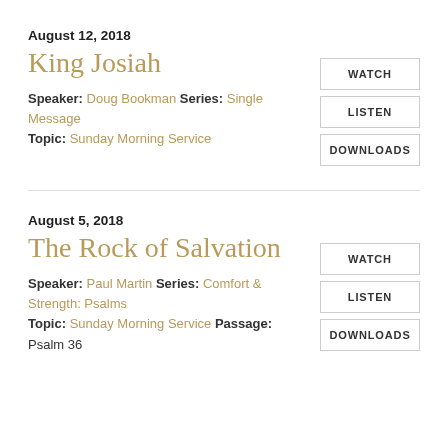August 12, 2018
King Josiah
Speaker: Doug Bookman Series: Single Message
Topic: Sunday Morning Service
WATCH
LISTEN
DOWNLOADS
August 5, 2018
The Rock of Salvation
Speaker: Paul Martin Series: Comfort & Strength: Psalms
Topic: Sunday Morning Service Passage: Psalm 36
WATCH
LISTEN
DOWNLOADS